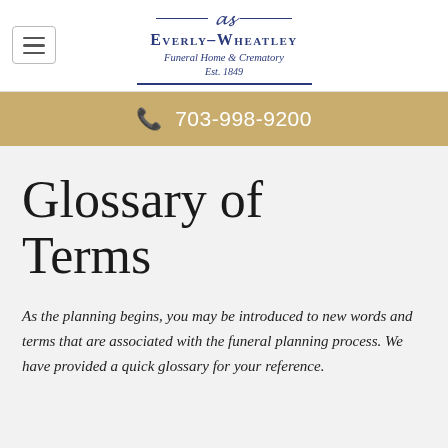[Figure (logo): Everly-Wheatley Funeral Home & Crematory logo with monogram EW, established 1849, in navy blue with decorative lines]
703-998-9200
Glossary of Terms
As the planning begins, you may be introduced to new words and terms that are associated with the funeral planning process. We have provided a quick glossary for your reference.